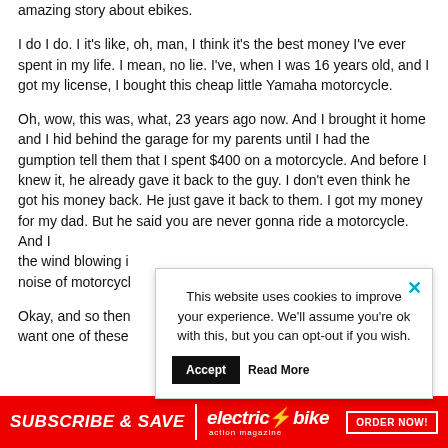amazing story about ebikes.
I do I do. I it's like, oh, man, I think it's the best money I've ever spent in my life. I mean, no lie. I've, when I was 16 years old, and I got my license, I bought this cheap little Yamaha motorcycle.
Oh, wow, this was, what, 23 years ago now. And I brought it home and I hid behind the garage for my parents until I had the gumption tell them that I spent $400 on a motorcycle. And before I knew it, he already gave it back to the guy. I don't even think he got his money back. He just gave it back to them. I got my money for my dad. But he said you are never gonna ride a motorcycle. And I the wind blowing i noise of motorcycl
This website uses cookies to improve your experience. We'll assume you're ok with this, but you can opt-out if you wish.
Okay, and so then want one of these
[Figure (infographic): Red advertising banner at bottom: SUBSCRIBE & SAVE | electric bike action magazine | ORDER NOW!]